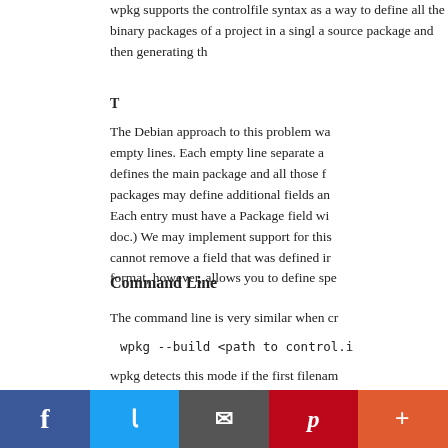wpkg supports the control-file syntax as a way to define all the binary packages of a project in a single file, by defining a source package and then generating the binary packages.
T
The Debian approach to this problem was to separate entries with empty lines. Each empty line separate a new entry. The first entry defines the main package and all those following are binary packages may define additional fields and override the default. Each entry must have a Package field with a unique name (see doc.) We may implement support for this in the future. The child cannot remove a field that was defined in the parent. The new format, however, allows you to define spe
Command Line
The command line is very similar when cr
wpkg --build <path to control.i
wpkg detects this mode if the first filenam 1.) Now wpkg loads the information from WPKG/control files under each folder as d These control files are trimmed down as o